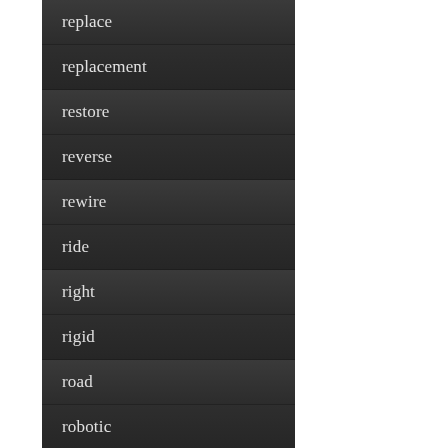replace
replacement
restore
reverse
rewire
ride
right
rigid
road
robotic
roland
roll